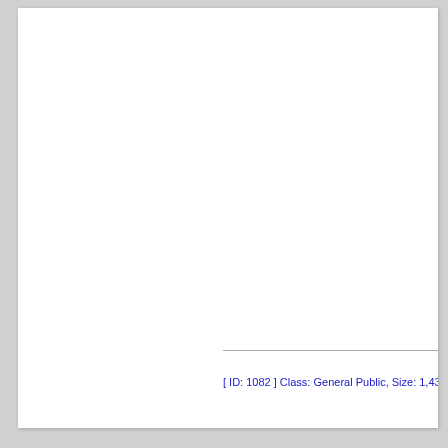[ ID: 1082 ] Class: General Public, Size: 1,43